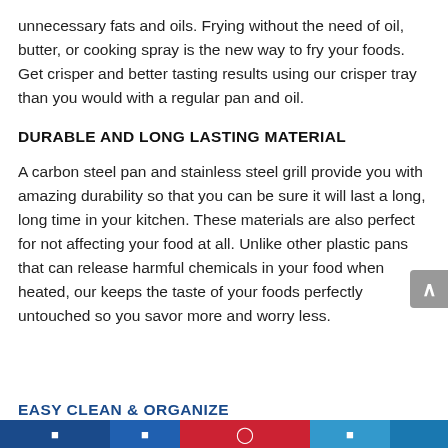unnecessary fats and oils. Frying without the need of oil, butter, or cooking spray is the new way to fry your foods. Get crisper and better tasting results using our crisper tray than you would with a regular pan and oil.
DURABLE AND LONG LASTING MATERIAL
A carbon steel pan and stainless steel grill provide you with amazing durability so that you can be sure it will last a long, long time in your kitchen. These materials are also perfect for not affecting your food at all. Unlike other plastic pans that can release harmful chemicals in your food when heated, our keeps the taste of your foods perfectly untouched so you savor more and worry less.
social sharing bar